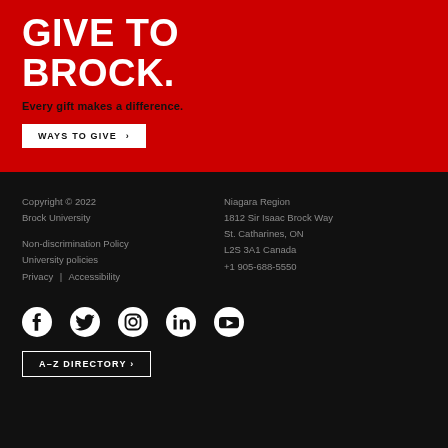GIVE TO BROCK.
Every gift makes a difference.
WAYS TO GIVE >
Copyright © 2022 Brock University

Non-discrimination Policy
University policies
Privacy | Accessibility
Niagara Region
1812 Sir Isaac Brock Way
St. Catharines, ON
L2S 3A1 Canada
+1 905-688-5550
[Figure (other): Social media icons: Facebook, Twitter, Instagram, LinkedIn, YouTube]
A-Z DIRECTORY >